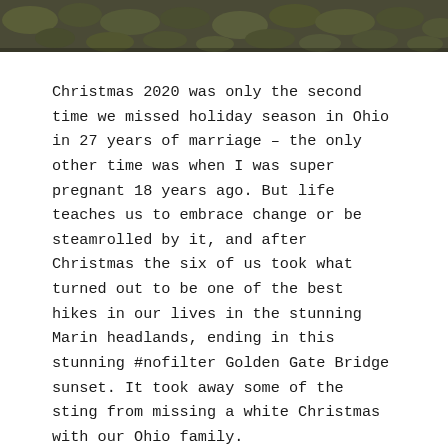[Figure (photo): Top portion of a photo showing dark green foliage/moss against a dark background, cropped at the top of the page]
Christmas 2020 was only the second time we missed holiday season in Ohio in 27 years of marriage – the only other time was when I was super pregnant 18 years ago. But life teaches us to embrace change or be steamrolled by it, and after Christmas the six of us took what turned out to be one of the best hikes in our lives in the stunning Marin headlands, ending in this stunning #nofilter Golden Gate Bridge sunset. It took away some of the sting from missing a white Christmas with our Ohio family.
With all the dire reports of supply chain issues this